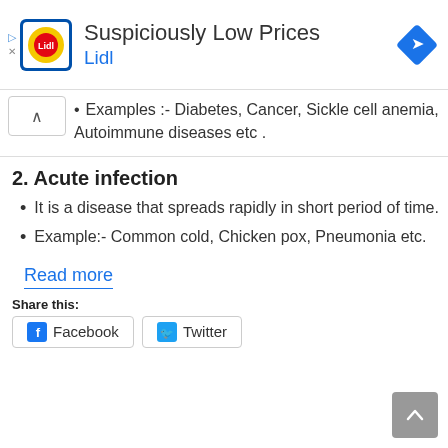[Figure (logo): Lidl advertisement banner with Lidl logo, title 'Suspiciously Low Prices', subtitle 'Lidl', and a blue navigation arrow icon]
Examples :- Diabetes, Cancer, Sickle cell anemia, Autoimmune diseases etc .
2. Acute infection
It is a disease that spreads rapidly in short period of time.
Example:- Common cold, Chicken pox, Pneumonia etc.
Read more
Share this:
Facebook  Twitter